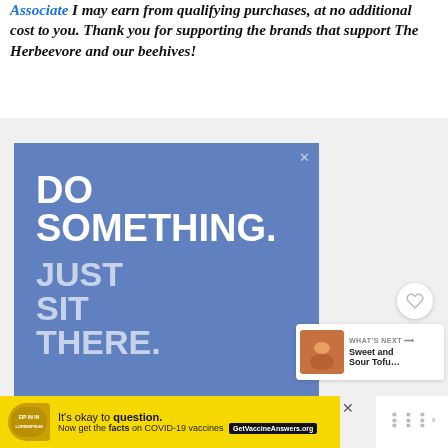Associate I may earn from qualifying purchases, at no additional cost to you. Thank you for supporting the brands that support The Herbeevore and our beehives!
[Figure (screenshot): Blue advertisement banner with white bold text reading 'DO SOMETHING. JUST SIT THERE.' and a Flatten The Curve logo at the bottom left, with a close (X) button at top right.]
[Figure (screenshot): Yellow advertisement banner for GetVaccineAnswers.org with text 'It's okay to question. Now get the facts on COVID-19 vaccines' and a GetVaccineAnswers.org button.]